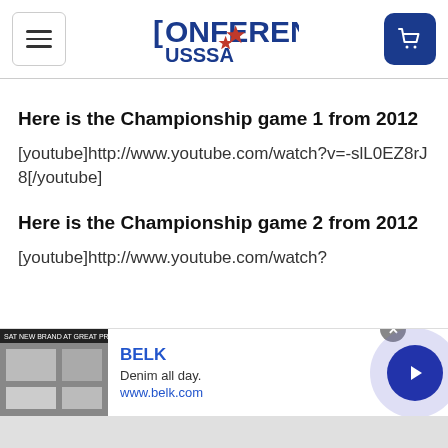[Figure (logo): Conference USSSA logo with red star]
Here is the Championship game 1 from 2012
[youtube]http://www.youtube.com/watch?v=-slL0EZ8rJ8[/youtube]
Here is the Championship game 2 from 2012
[youtube]http://www.youtube.com/watch?
[Figure (screenshot): BELK advertisement banner: Denim all day. www.belk.com with forward arrow button]